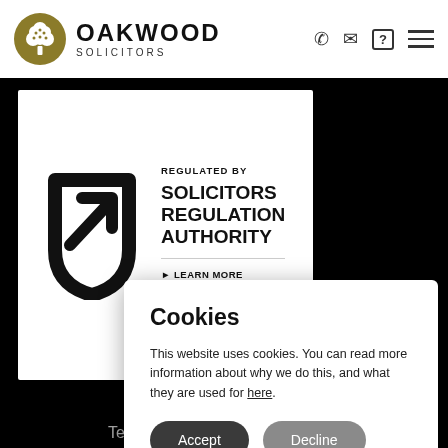Oakwood Solicitors
[Figure (logo): Oakwood Solicitors logo with tree emblem and company name]
[Figure (logo): Solicitors Regulation Authority badge with arrow logo, text: REGULATED BY SOLICITORS REGULATION AUTHORITY, LEARN MORE, 26 AUG 2022]
Cookies
This website uses cookies. You can read more information about why we do this, and what they are used for here.
Accept | Decline